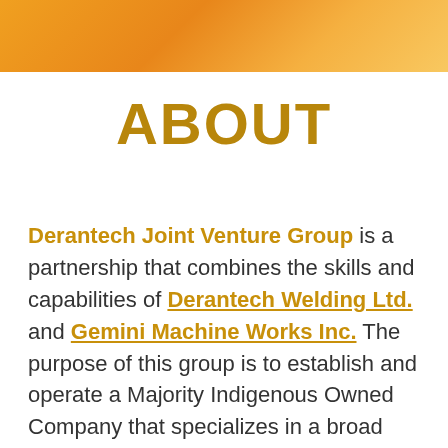[Figure (other): Orange-gold gradient decorative header band across the top of the page]
ABOUT
Derantech Joint Venture Group is a partnership that combines the skills and capabilities of Derantech Welding Ltd. and Gemini Machine Works Inc. The purpose of this group is to establish and operate a Majority Indigenous Owned Company that specializes in a broad range of products and services. The group also